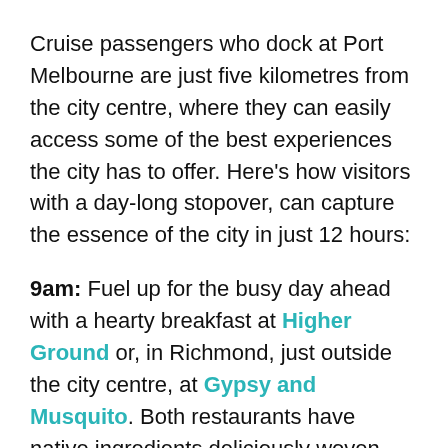Cruise passengers who dock at Port Melbourne are just five kilometres from the city centre, where they can easily access some of the best experiences the city has to offer. Here's how visitors with a day-long stopover, can capture the essence of the city in just 12 hours:
9am: Fuel up for the busy day ahead with a hearty breakfast at Higher Ground or, in Richmond, just outside the city centre, at Gypsy and Musquito. Both restaurants have native ingredients deliciously woven into their breakfast menus, giving visitors the chance to truly experience a taste of Australia.
11am: Explore Melbourne's labyrinth of laneways, including Degraves Street, Flinders Lane and Little Collins Street, to discover everything from international designer wares, to locally designed threads and